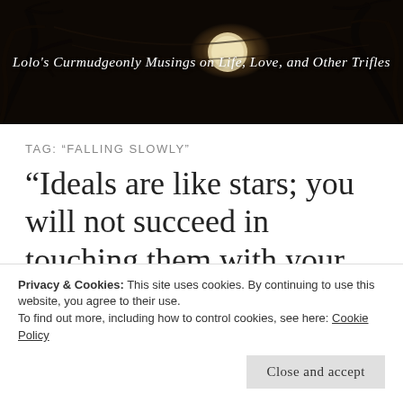[Figure (photo): Dark atmospheric banner image with moonlight through bare tree branches, with overlaid script text reading: Lolo's Curmudgeonly Musings on Life, Love, and Other Trifles]
TAG: “FALLING SLOWLY”
“Ideals are like stars; you will not succeed in touching them with your hands. But like the seafaring man on
Privacy & Cookies: This site uses cookies. By continuing to use this website, you agree to their use.
To find out more, including how to control cookies, see here: Cookie Policy
Close and accept